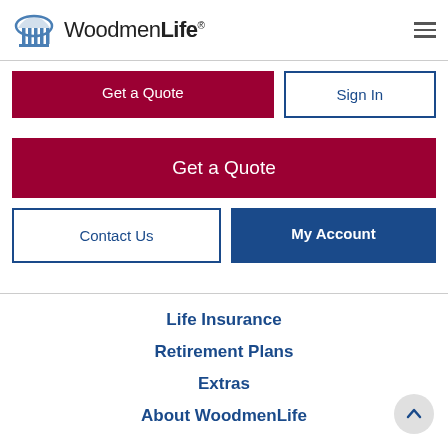[Figure (logo): WoodmenLife logo with dome/columns icon and text 'WoodmenLife']
Get a Quote
Sign In
Get a Quote
Contact Us
My Account
Life Insurance
Retirement Plans
Extras
About WoodmenLife